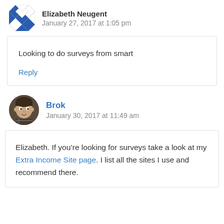Elizabeth Neugent
January 27, 2017 at 1:05 pm
Looking to do surveys from smart
Reply
Brok
January 30, 2017 at 11:49 am
Elizabeth. If you’re looking for surveys take a look at my Extra Income Site page. I list all the sites I use and recommend there.